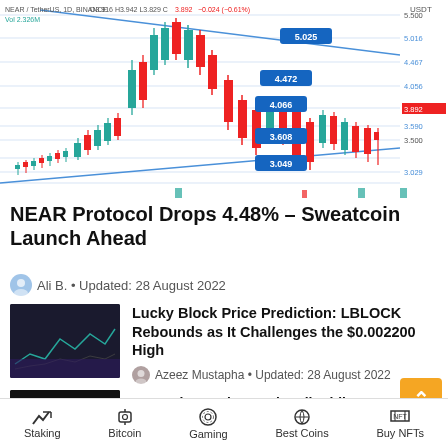[Figure (continuous-plot): NEAR/TetherUS 1D BINANCE candlestick chart with price levels at 5.025, 4.472, 4.066, 3.608, 3.049. Price labels on right: 5.500, 5.016, 4.467, 4.056, 3.892, 3.590, 3.500, 3.029. Header: NEAR/TetherUS, 1D, BINANCE O3.916 H3.942 L3.829 C3.892 -0.024(-0.61%) Vol 2.326M. Blue diagonal trendlines forming wedge pattern. Currency: USDT.]
NEAR Protocol Drops 4.48% – Sweatcoin Launch Ahead
Ali B. • Updated: 28 August 2022
Lucky Block Price Prediction: LBLOCK Rebounds as It Challenges the $0.002200 High
Azeez Mustapha • Updated: 28 August 2022
MAS takes action against liquidity issues
Staking  Bitcoin  Gaming  Best Coins  Buy NFTs